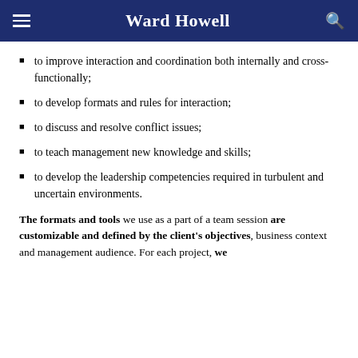Ward Howell
to improve interaction and coordination both internally and cross-functionally;
to develop formats and rules for interaction;
to discuss and resolve conflict issues;
to teach management new knowledge and skills;
to develop the leadership competencies required in turbulent and uncertain environments.
The formats and tools we use as a part of a team session are customizable and defined by the client's objectives, business context and management audience. For each project, we